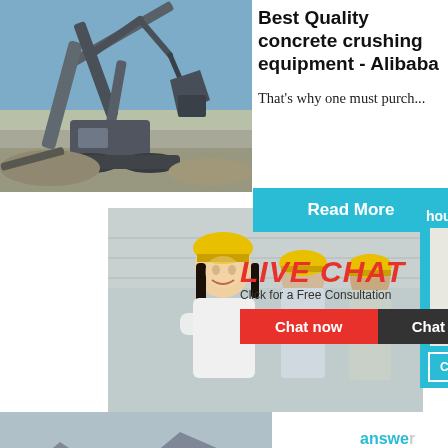[Figure (photo): Industrial crusher/excavator machinery with large mechanical arm and conveyor, outdoor construction site with blue sky]
Best Quality concrete crushing equipment - Alibaba
That's why one must purch...
[Figure (photo): Blue Read More button]
[Figure (photo): Three workers wearing yellow hard hats, woman in foreground wearing white shirt smiling]
[Figure (infographic): Live chat popup overlay with red LIVE CHAT text, close button, subtitle 'Click for a Free Consultation', Chat now (red) and Chat later (dark gray) buttons]
hour online
[Figure (photo): Industrial crusher/mill machine (white/gray box with red wheel), partially visible]
[Figure (screenshot): Click me to chat>> blue button]
[Figure (photo): Conveyor belt system at mining/quarry site, aerial/side view showing multiple parallel belts]
answe...
2021-10-
Read
Enquiry
limingjlmofen